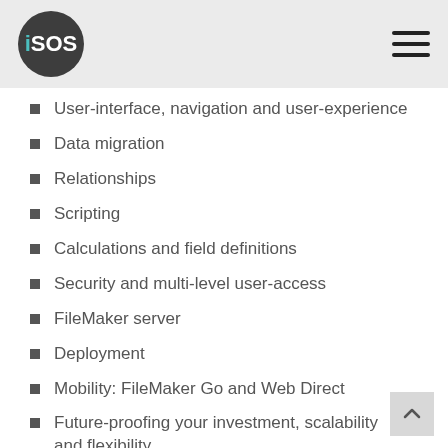iSOS
User-interface, navigation and user-experience
Data migration
Relationships
Scripting
Calculations and field definitions
Security and multi-level user-access
FileMaker server
Deployment
Mobility: FileMaker Go and Web Direct
Future-proofing your investment, scalability and flexibility
Working with one of our experienced Claris